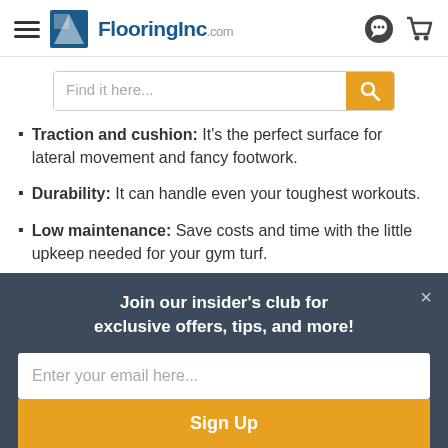FlooringInc.com
Traction and cushion: It's the perfect surface for lateral movement and fancy footwork.
Durability: It can handle even your toughest workouts.
Low maintenance: Save costs and time with the little upkeep needed for your gym turf.
Join our insider's club for exclusive offers, tips, and more!
Enter your email here...
Sign Up